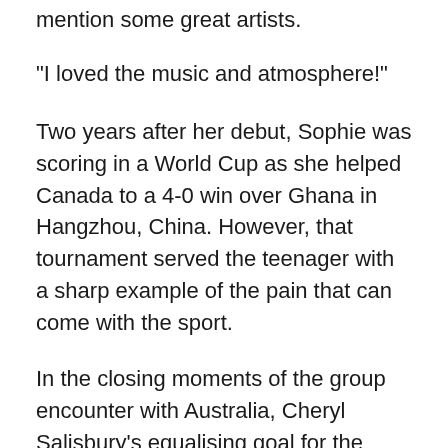mention some great artists.
“I loved the music and atmosphere!”
Two years after her debut, Sophie was scoring in a World Cup as she helped Canada to a 4-0 win over Ghana in Hangzhou, China. However, that tournament served the teenager with a sharp example of the pain that can come with the sport.
In the closing moments of the group encounter with Australia, Cheryl Salisbury’s equalising goal for the Matildas sent them through to the knockout phase and broke new ground for the women’s game in her country, but shattered Canadian hearts in the process as it eliminated Even Pellerud’s team. A year later, and once again in China, Sophie was part of the world’s most prestigious sporting spectacle, as Canada